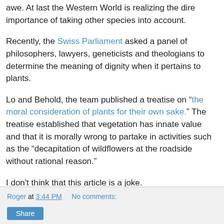awe. At last the Western World is realizing the dire importance of taking other species into account.
Recently, the Swiss Parliament asked a panel of philosophers, lawyers, geneticists and theologians to determine the meaning of dignity when it pertains to plants.
Lo and Behold, the team published a treatise on “the moral consideration of plants for their own sake.” The treatise established that vegetation has innate value and that it is morally wrong to partake in activities such as the “decapitation of wildflowers at the roadside without rational reason.”
I don't think that this article is a joke.
Roger at 3:44 PM    No comments: